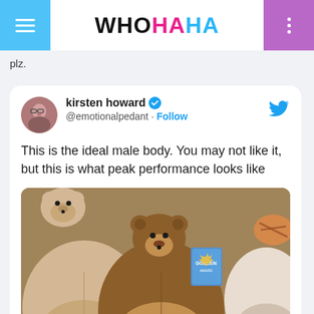WHOHAHA
plz.
[Figure (screenshot): Embedded tweet from @emotionalpedant (kirsten howard) with verified badge. Tweet text: 'This is the ideal male body. You may not like it, but this is what peak performance looks like'. Contains a photo of stuffed animal plush toys resembling bears/animals from behind showing their bottoms. Twitter bird icon in top right.]